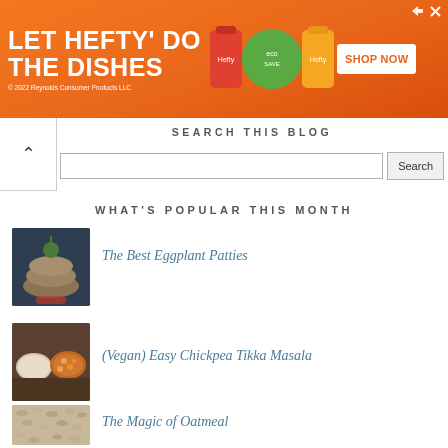[Figure (other): Orange advertisement banner for Hefty dish soap with text 'LET HEFTY DO THE DISHES', product images, and 'SHOP NOW' button. Copyright 2022 Reynolds Consumer Products LLC.]
SEARCH THIS BLOG
Search
WHAT'S POPULAR THIS MONTH
[Figure (photo): Photo of stacked eggplant patties on dark background with garnish and red sauce]
The Best Eggplant Patties
[Figure (photo): Photo of chickpea tikka masala in bowls with rice]
(Vegan) Easy Chickpea Tikka Masala
[Figure (photo): Photo of oatmeal grains texture]
The Magic of Oatmeal